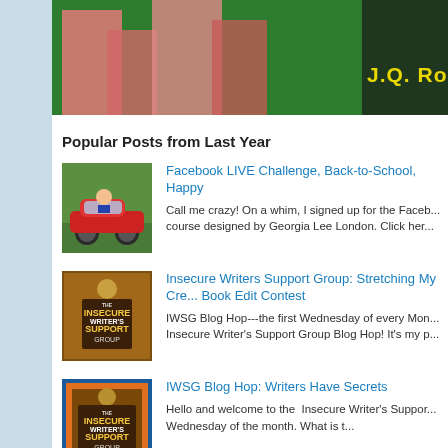[Figure (photo): Top banner image showing legs/figures against a green background with 'J.Q. Rose' text in yellow]
Popular Posts from Last Year
[Figure (photo): Thumbnail of a person in a red convertible car against green background]
Facebook LIVE Challenge, Back-to-School, Happy
Call me crazy! On a whim, I signed up for the Facebook LIVE course designed by Georgia Lee London. Click here...
[Figure (logo): Insecure Writers Support Group logo]
Insecure Writers Support Group: Stretching My Creative... Book Edit Contest
IWSG Blog Hop---the first Wednesday of every Month... Insecure Writer's Support Group Blog Hop! It's my p...
[Figure (logo): Insecure Writers Support Group logo with blue/orange border]
IWSG Blog Hop: Writers Have Secrets
Hello and welcome to the Insecure Writer's Support... Wednesday of the month. What is t...